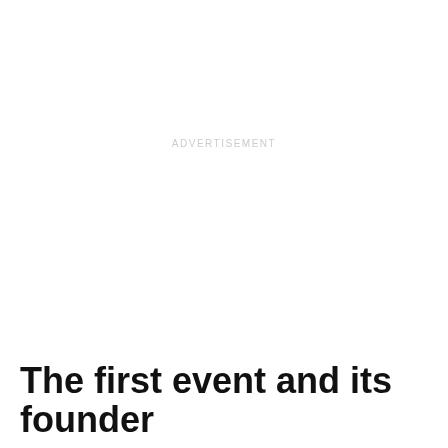ADVERTISEMENT
The first event and its founder